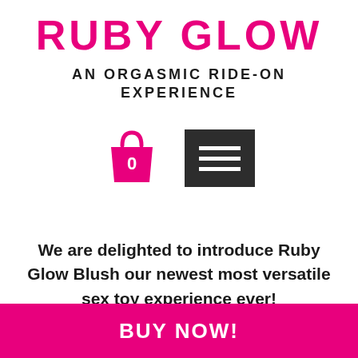RUBY GLOW
AN ORGASMIC RIDE-ON EXPERIENCE
[Figure (illustration): Pink shopping bag icon with a 0 on it, and a dark grey hamburger menu button with three horizontal white lines]
We are delighted to introduce Ruby Glow Blush our newest most versatile sex toy experience ever!
BUY NOW!